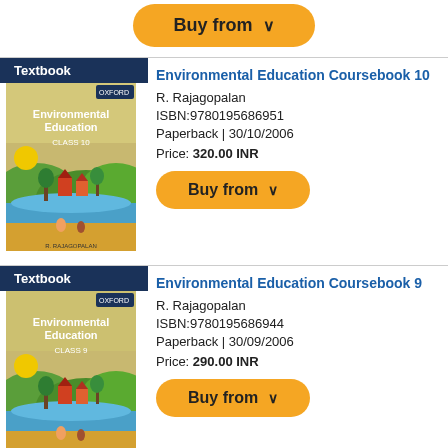[Figure (other): Partial orange Buy from button at top of page]
Textbook
[Figure (illustration): Book cover: Environmental Education Coursebook 10, showing an illustrated landscape scene]
Environmental Education Coursebook 10
R. Rajagopalan
ISBN:9780195686951
Paperback | 30/10/2006
Price: 320.00 INR
[Figure (other): Orange Buy from button with chevron]
Textbook
[Figure (illustration): Book cover: Environmental Education Coursebook 9, showing an illustrated landscape scene]
Environmental Education Coursebook 9
R. Rajagopalan
ISBN:9780195686944
Paperback | 30/09/2006
Price: 290.00 INR
[Figure (other): Orange Buy from button with chevron]